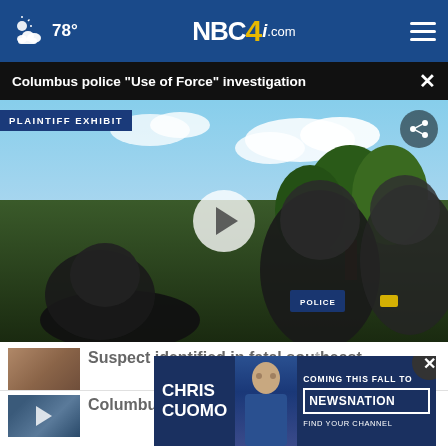78° NBC4i.com
Columbus police "Use of Force" investigation
[Figure (screenshot): Body camera footage labeled PLAINTIFF EXHIBIT showing police officers from a low angle with sky and trees in background. A play button is visible in the center.]
Suspect identified in fatal southeast
[Figure (photo): Thumbnail of a man's headshot]
Columbus parents join teachers on
[Figure (infographic): Advertisement: CHRIS CUOMO - COMING THIS FALL TO NEWSNATION - FIND YOUR CHANNEL]